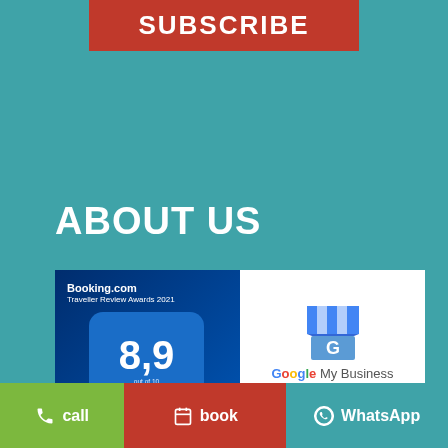SUBSCRIBE
ABOUT US
[Figure (other): Booking.com Traveller Review Awards 2021 badge showing score 8,9 for Casa Vacanze Stelle Marine]
[Figure (other): Google My Business badge showing rating 4,4 molto buono with 4.5 stars]
FOLLOW US ON SOCIAL
call
book
WhatsApp